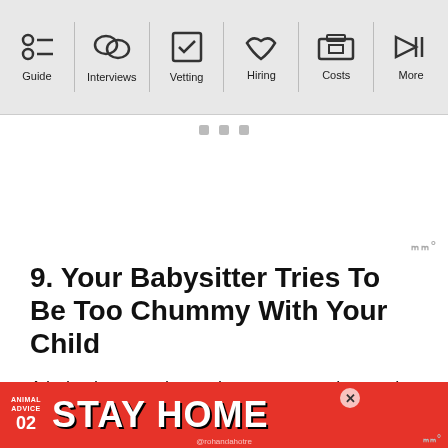Guide | Interviews | Vetting | Hiring | Costs | More
9. Your Babysitter Tries To Be Too Chummy With Your Child
A babysitter needs to take on a supervisory role with the children they babysit in order to control their behavior and earn their respect. In this way, they have to [cut off] ...m over by...
[Figure (screenshot): Bottom advertisement banner: red background with 'ANIMAL ADVICE 02' badge and large 'STAY HOME' text with illustrated mushroom/forest scene and @rohandahotre handle]